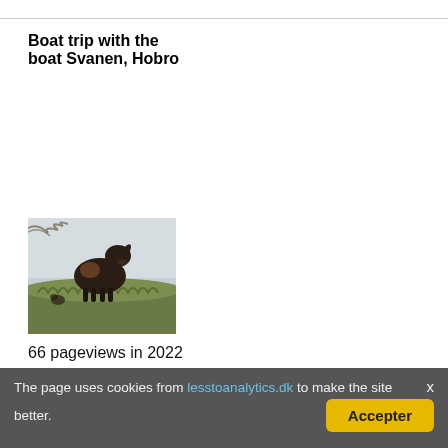Boat trip with the boat Svanen, Hobro
Show
[Figure (photo): A black cow standing on a grassy hillside with a pale sky background]
66 pageviews in 2022
1.879 pageviews in 2021
989 pageviews in 2020
The page uses cookies from lesstoanalytics.dk to make the site better.